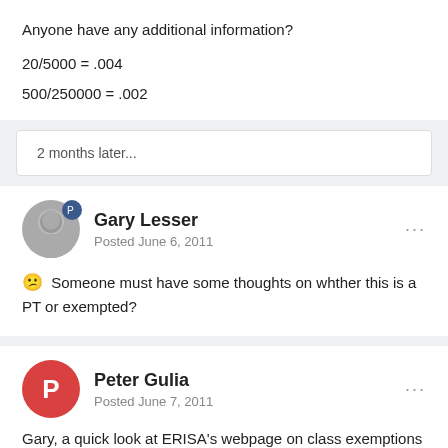Anyone have any additional information?
20/5000 = .004
500/250000 = .002
2 months later...
Gary Lesser
Posted June 6, 2011
Someone must have some thoughts on whther this is a PT or exempted?
Peter Gulia
Posted June 7, 2011
Gary, a quick look at ERISA's webpage on class exemptions does